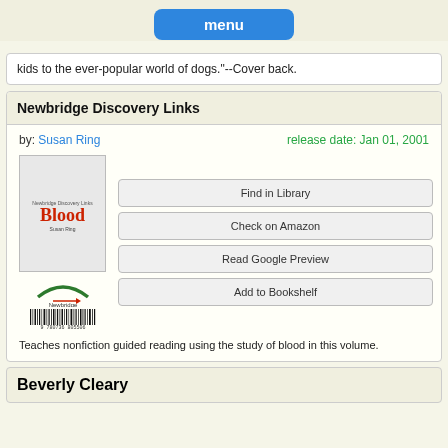menu
kids to the ever-popular world of dogs."--Cover back.
Newbridge Discovery Links
by: Susan Ring   release date: Jan 01, 2001
[Figure (illustration): Book cover for 'Blood' by Susan Ring, Newbridge Discovery Links series, showing the word Blood in red bold text, with publisher logo and barcode at bottom.]
Find in Library
Check on Amazon
Read Google Preview
Add to Bookshelf
Teaches nonfiction guided reading using the study of blood in this volume.
Beverly Cleary